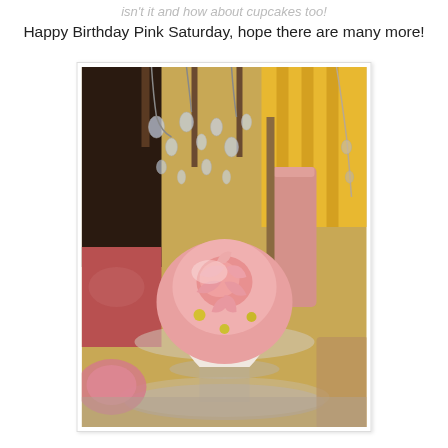isn't it and how about cupcakes too!
Happy Birthday Pink Saturday, hope there are many more!
[Figure (photo): A pink cupcake decorated with a large pink rose-shaped frosting flower and small yellow accents, displayed on a glass cake stand. Background shows crystal chandelier drops, a pink candle, and yellow striped curtains in a decorative styled room setting.]